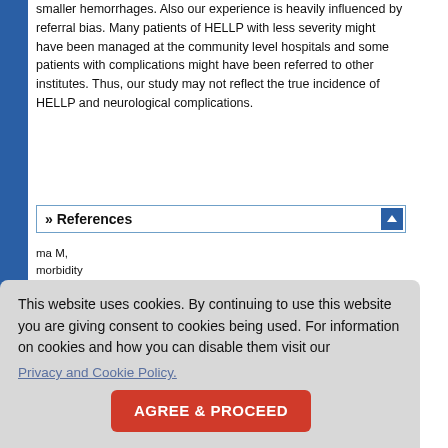smaller hemorrhages. Also our experience is heavily influenced by referral bias. Many patients of HELLP with less severity might have been managed at the community level hospitals and some patients with complications might have been referred to other institutes. Thus, our study may not reflect the true incidence of HELLP and neurological complications.
» References
ma M, morbidity
nd low ostet
HELLP 3.
e. Acta
[PUBMED]
This website uses cookies. By continuing to use this website you are giving consent to cookies being used. For information on cookies and how you can disable them visit our Privacy and Cookie Policy.
AGREE & PROCEED